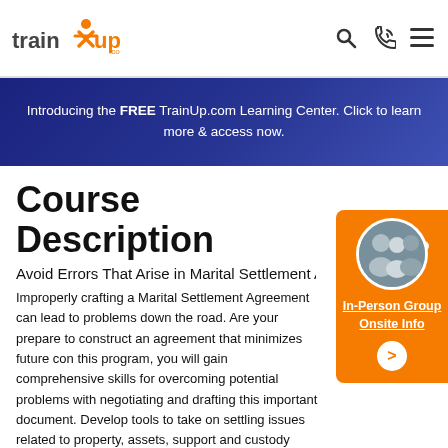trainXup.com — Your Career Training Marketplace
Introducing the FREE TrainUp.com Learning Center. Click to learn more & access now.
Course Description
Avoid Errors That Arise in Marital Settlement Agre…
[Figure (photo): Circular photo of a group of people, with orange sidebar widget showing In-Person Group Onsite Info link and arrow button]
Improperly crafting a Marital Settlement Agreement can lead to problems down the road. Are your prepared to construct an agreement that minimizes future con… this program, you will gain comprehensive skills for overcoming potential problems with negotiating and drafting this important document. Develop tools to take on settling issues related to property, assets, support and custody while maintaining an amicable environment. Register today!